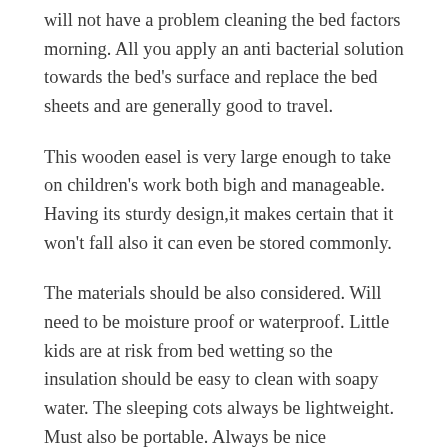will not have a problem cleaning the bed factors morning. All you apply an anti bacterial solution towards the bed's surface and replace the bed sheets and are generally good to travel.
This wooden easel is very large enough to take on children's work both bigh and manageable. Having its sturdy design,it makes certain that it won't fall also it can even be stored commonly.
The materials should be also considered. Will need to be moisture proof or waterproof. Little kids are at risk from bed wetting so the insulation should be easy to clean with soapy water. The sleeping cots always be lightweight. Must also be portable. Always be nice understand that with sleeping cots little tykes will have a place to sleep their heads when they get tired.